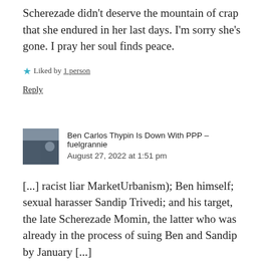Scherezade didn't deserve the mountain of crap that she endured in her last days. I'm sorry she's gone. I pray her soul finds peace.
★ Liked by 1 person
Reply
Ben Carlos Thypin Is Down With PPP – fuelgrannie
August 27, 2022 at 1:51 pm
[...] racist liar MarketUrbanism); Ben himself; sexual harasser Sandip Trivedi; and his target, the late Scherezade Momin, the latter who was already in the process of suing Ben and Sandip by January [...]
★ Like